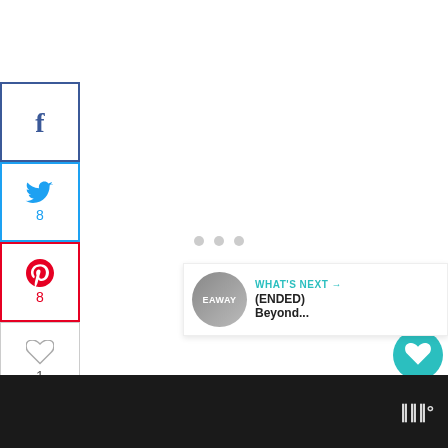[Figure (screenshot): Social media share sidebar with Facebook, Twitter, Pinterest, heart/like, email, and LinkedIn buttons. Facebook shows no count, Twitter shows 8, Pinterest shows 8, heart shows 1, email and LinkedIn show no count. Total of 16 SHARES shown below.]
[Figure (infographic): Floating like button (teal circle with heart icon) showing count 19, and a share button below it on the right side of the page.]
[Figure (screenshot): What's Next panel showing a circular thumbnail image labeled EAWAY with text '(ENDED) Beyond...' and a teal arrow.]
[Figure (screenshot): Dark footer bar with white logo/text mark (looks like stylized W or III with degree symbol).]